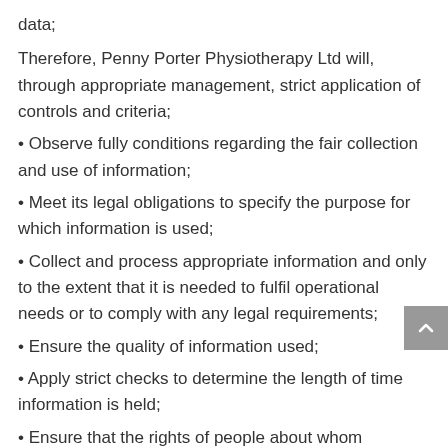data;
Therefore, Penny Porter Physiotherapy Ltd will, through appropriate management, strict application of controls and criteria;
• Observe fully conditions regarding the fair collection and use of information;
• Meet its legal obligations to specify the purpose for which information is used;
• Collect and process appropriate information and only to the extent that it is needed to fulfil operational needs or to comply with any legal requirements;
• Ensure the quality of information used;
• Apply strict checks to determine the length of time information is held;
• Ensure that the rights of people about whom information is held, are able to be fully exercised